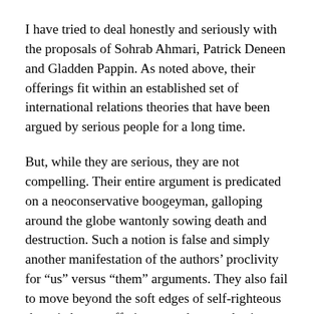I have tried to deal honestly and seriously with the proposals of Sohrab Ahmari, Patrick Deneen and Gladden Pappin. As noted above, their offerings fit within an established set of international relations theories that have been argued by serious people for a long time.
But, while they are serious, they are not compelling. Their entire argument is predicated on a neoconservative boogeyman, galloping around the globe wantonly sowing death and destruction. Such a notion is false and simply another manifestation of the authors’ proclivity for “us” versus “them” arguments. They also fail to move beyond the soft edges of self-righteous rhetoric by not offering even the most basic practical proposals or accounting for what their implementation would require. They claim “restraint”